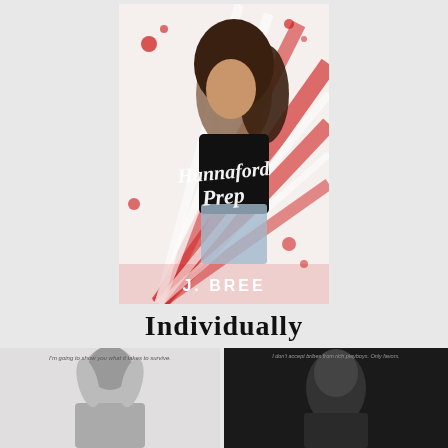[Figure (illustration): Book cover for 'Hannaford Prep' by J. Bree. Features a young woman with dark hair in a black top and jeans, with red splatter graphic design elements and a fan/sunburst pattern in red and white. Title in cursive white text, author name in white block letters at the bottom.]
Individually
[Figure (photo): Black and white photo of a dark-haired person with text overlay 'I'm going to show you what it takes to survive.']
[Figure (photo): Dark photo of a person with text overlay 'I don't accept bribes from rich playboys. Only favors.']